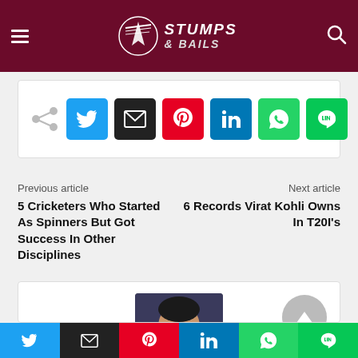Stumps & Bails — navigation header with logo, hamburger menu, and search icon
[Figure (screenshot): Social share buttons row: share icon (gray), Twitter (blue), Email (black), Pinterest (red), LinkedIn (blue), WhatsApp (green), LINE (green)]
Previous article
Next article
5 Cricketers Who Started As Spinners But Got Success In Other Disciplines
6 Records Virat Kohli Owns In T20I's
[Figure (photo): Author profile photo showing a smiling man in dark clothing, partially visible author card with scroll-to-top button]
[Figure (screenshot): Bottom share bar: Twitter (blue), Email (black), Pinterest (red), LinkedIn (blue), WhatsApp (green), LINE (green)]